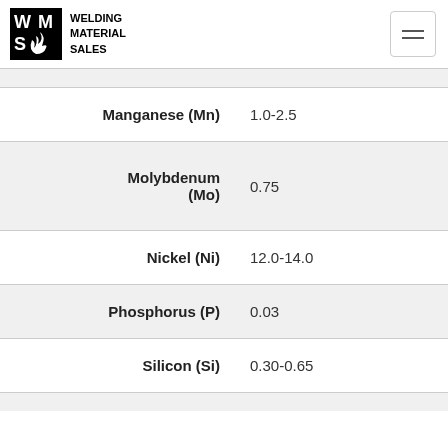Welding Material Sales
| Element | Value |
| --- | --- |
| Manganese (Mn) | 1.0-2.5 |
| Molybdenum (Mo) | 0.75 |
| Nickel (Ni) | 12.0-14.0 |
| Phosphorus (P) | 0.03 |
| Silicon (Si) | 0.30-0.65 |